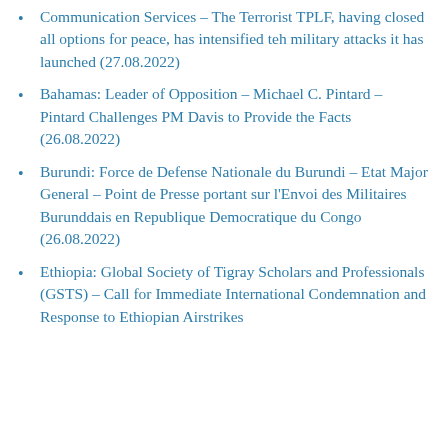Communication Services – The Terrorist TPLF, having closed all options for peace, has intensified teh military attacks it has launched (27.08.2022)
Bahamas: Leader of Opposition – Michael C. Pintard – Pintard Challenges PM Davis to Provide the Facts (26.08.2022)
Burundi: Force de Defense Nationale du Burundi – Etat Major General – Point de Presse portant sur l'Envoi des Militaires Burunddais en Republique Democratique du Congo (26.08.2022)
Ethiopia: Global Society of Tigray Scholars and Professionals (GSTS) – Call for Immediate International Condemnation and Response to Ethiopian Airstrikes